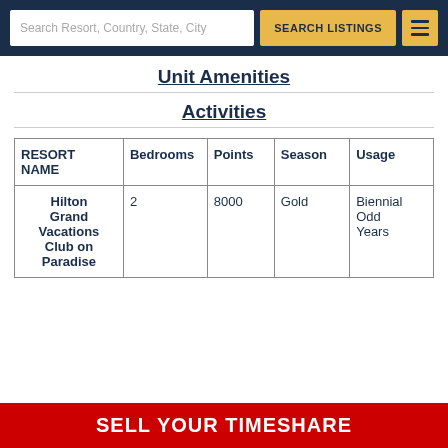Search Resort, Country, State, City | SEARCH LISTINGS
Unit Amenities
Activities
| RESORT NAME | Bedrooms | Points | Season | Usage |
| --- | --- | --- | --- | --- |
| Hilton Grand Vacations Club on Paradise | 2 | 8000 | Gold | Biennial Odd Years |
SELL YOUR TIMESHARE